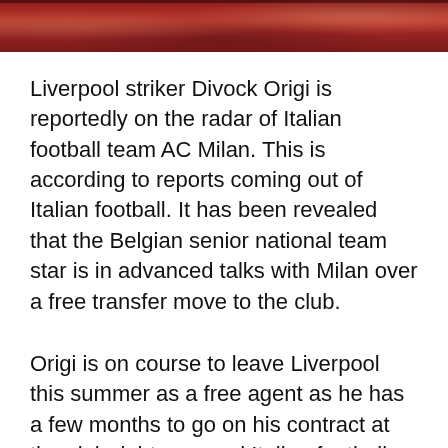[Figure (photo): Photo banner showing a person in red/dark clothing against a dark background with bokeh lighting]
Liverpool striker Divock Origi is reportedly on the radar of Italian football team AC Milan. This is according to reports coming out of Italian football. It has been revealed that the Belgian senior national team star is in advanced talks with Milan over a free transfer move to the club.
Origi is on course to leave Liverpool this summer as a free agent as he has a few months to go on his contract at the club right now and Italian football giants Milan are ready to offer him a new lease of life after failing to nail down a regular spot in the